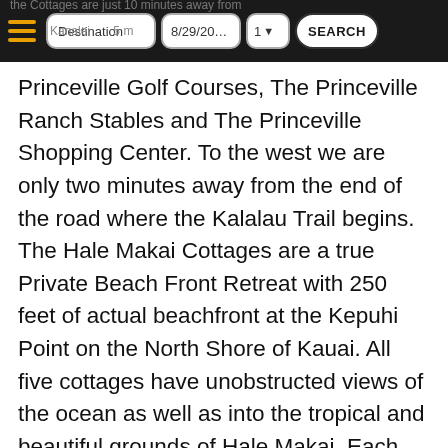the Cottages are just 10 minutes away from Kanalei Beach 5 minutes from 8/29/20... 1 SEARCH
Princeville Golf Courses, The Princeville Ranch Stables and The Princeville Shopping Center. To the west we are only two minutes away from the end of the road where the Kalalau Trail begins. The Hale Makai Cottages are a true Private Beach Front Retreat with 250 feet of actual beachfront at the Kepuhi Point on the North Shore of Kauai. All five cottages have unobstructed views of the ocean as well as into the tropical and beautiful grounds of Hale Makai. Each Cottage has its own private sitting area, deck and yard Our guests consider us one of the best places on Kauai. Hale Makai remains untouched by modern tourism, the cottages are